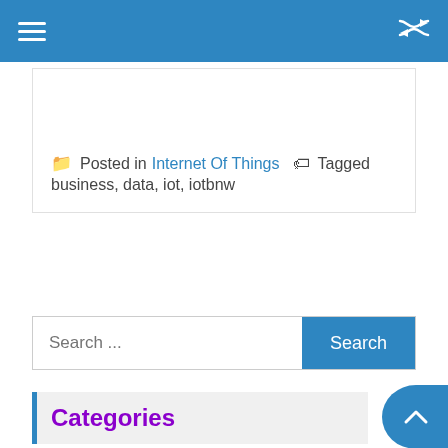Posted in Internet Of Things   Tagged business, data, iot, iotbnw
Search ...
Categories
Artificial Intelligence (1,110)